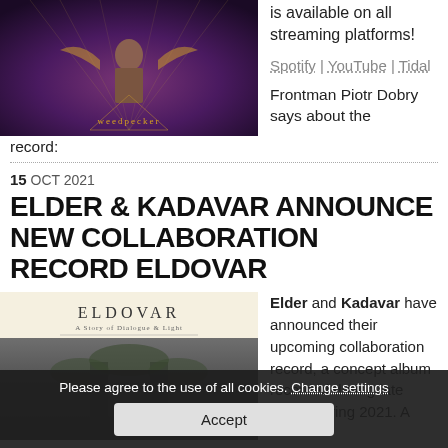[Figure (illustration): Album artwork with dark purple background, figure silhouette, gold decorative elements, and 'weedpecker' text at bottom]
is available on all streaming platforms!
Spotify | YouTube | Tidal
Frontman Piotr Dobry says about the record:
15 OCT 2021
ELDER & KADAVAR ANNOUNCE NEW COLLABORATION RECORD ELDOVAR
[Figure (photo): ELDOVAR album cover with cream background and dark imagery below]
Elder and Kadavar have announced their upcoming collaboration record, a concept album recorded during late winter/spring 2021. A
Please agree to the use of all cookies. Change settings
Accept